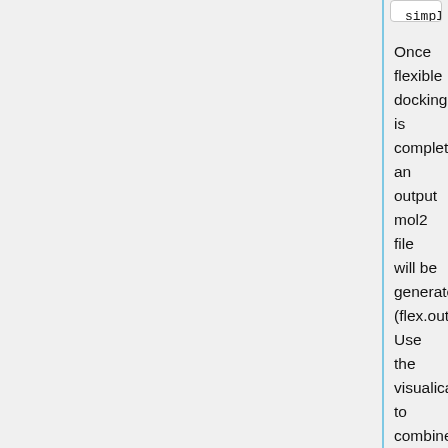simplex_restraint_min
no
atom_model
all
vdw_defn_file
/gpfs/projects/AMS536/zzz.prog
flex_defn_file
/gpfs/projects/AMS536/zzz.prog
flex_drive_file
/gpfs/projects/AMS536/zzz.prog
ligand_outfile_prefix
flex.out
write_orientations
no
num_scored_conformers
1
rank_ligands
no
Once flexible docking is completed an output mol2 file will be generated. (flex.out_scored.mol2). Use the visualication to combine initial fixed...